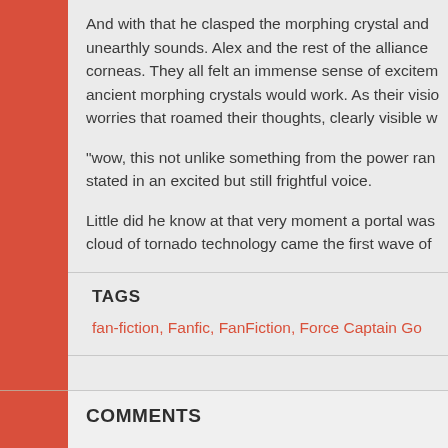And with that he clasped the morphing crystal and unearthly sounds. Alex and the rest of the alliance corneas. They all felt an immense sense of excitement ancient morphing crystals would work. As their visi worries that roamed their thoughts, clearly visible w
“wow, this not unlike something from the power ran stated in an excited but still frightful voice.
Little did he know at that very moment a portal was cloud of tornado technology came the first wave of
TAGS
fan-fiction, Fanfic, FanFiction, Force Captain Go
COMMENTS